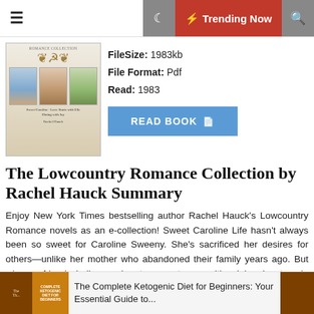≡  ☽  ⚡ Trending Now  🔍
[Figure (photo): Book cover for The Lowcountry Romance Collection by Rachel Hauck, showing ornamental design and three book covers]
FileSize: 1983kb
File Format: Pdf
Read: 1983
READ BOOK
The Lowcountry Romance Collection by Rachel Hauck Summary
Enjoy New York Times bestselling author Rachel Hauck's Lowcountry Romance novels as an e-collection! Sweet Caroline Life hasn't always been so sweet for Caroline Sweeny. She's sacrificed her desires for others—unlike her mother who abandoned their family years ago. But when a friend challenges her to accept an exciting job adventure in Spain, Caroline says "yes" to a new
[Figure (photo): Advertisement bar at the bottom showing book covers for The Complete Ketogenic Diet for Beginners and another book, with text 'The Complete Ketogenic Diet for Beginners: Your Essential Guide to...']